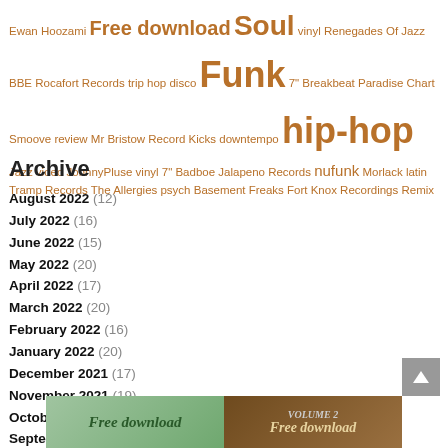Ewan Hoozami Free download Soul vinyl Renegades Of Jazz BBE Rocafort Records trip hop disco Funk 7" Breakbeat Paradise Chart Smoove review Mr Bristow Record Kicks downtempo hip-hop Jazz video JohnnyPluse vinyl 7" Badboe Jalapeno Records nufunk Morlack latin Tramp Records The Allergies psych Basement Freaks Fort Knox Recordings Remix
Archive
August 2022 (12)
July 2022 (16)
June 2022 (15)
May 2022 (20)
April 2022 (17)
March 2022 (20)
February 2022 (16)
January 2022 (20)
December 2021 (17)
November 2021 (19)
October 2021 (20)
September 2021 (21)
Complete Archives »
[Figure (other): Two promotional banner images side by side both showing Free download text]